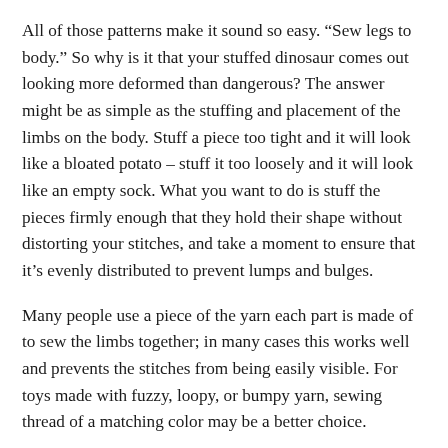All of those patterns make it sound so easy. “Sew legs to body.” So why is it that your stuffed dinosaur comes out looking more deformed than dangerous? The answer might be as simple as the stuffing and placement of the limbs on the body. Stuff a piece too tight and it will look like a bloated potato – stuff it too loosely and it will look like an empty sock. What you want to do is stuff the pieces firmly enough that they hold their shape without distorting your stitches, and take a moment to ensure that it’s evenly distributed to prevent lumps and bulges.
Many people use a piece of the yarn each part is made of to sew the limbs together; in many cases this works well and prevents the stitches from being easily visible. For toys made with fuzzy, loopy, or bumpy yarn, sewing thread of a matching color may be a better choice.